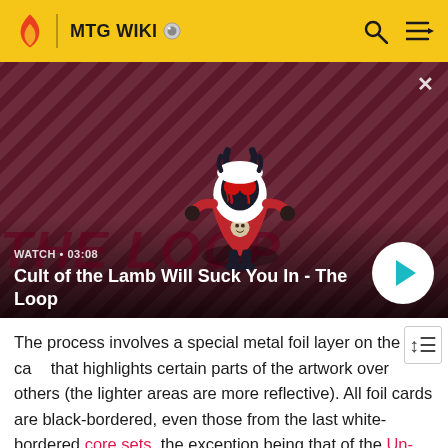MTG WIKI
[Figure (screenshot): Video thumbnail showing animated lamb character with devil horns against red and dark diagonal striped background. Shows 'Cult of the Lamb Will Suck You In - The Loop' with WATCH • 03:08 label and a play button.]
WATCH • 03:08
Cult of the Lamb Will Suck You In - The Loop
The process involves a special metal foil layer on the card that highlights certain parts of the artwork over others (the lighter areas are more reflective). All foil cards are black-bordered, even those from the last white-bordered core sets, the exception being that of the Un-sets, which